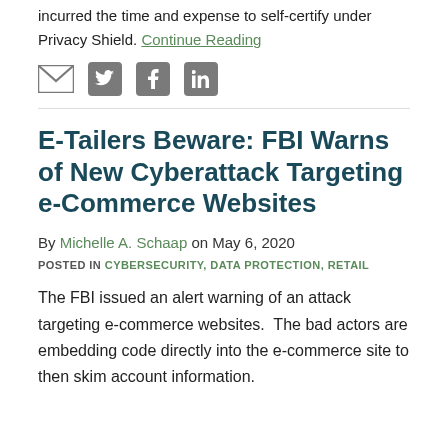incurred the time and expense to self-certify under Privacy Shield. Continue Reading
[Figure (illustration): Social sharing icons: email envelope, Twitter bird, Facebook f, LinkedIn in]
E-Tailers Beware: FBI Warns of New Cyberattack Targeting e-Commerce Websites
By Michelle A. Schaap on May 6, 2020
POSTED IN CYBERSECURITY, DATA PROTECTION, RETAIL
The FBI issued an alert warning of an attack targeting e-commerce websites.  The bad actors are embedding code directly into the e-commerce site to then skim account information.